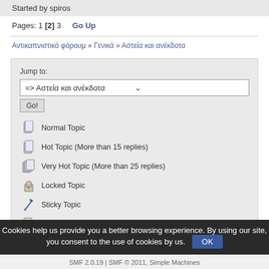Started by spiros
Pages: 1 [2] 3   Go Up
Αντικαπνιστικό φόρουμ » Γενικά » Αστεία και ανέκδοτα
Jump to:
=> Αστεία και ανέκδοτα
Go!
Normal Topic
Hot Topic (More than 15 replies)
Very Hot Topic (More than 25 replies)
Locked Topic
Sticky Topic
Poll
Cookies help us provide you a better browsing experience. By using our site, you consent to the use of cookies by us.
SMF 2.0.19 | SMF © 2011, Simple Machines